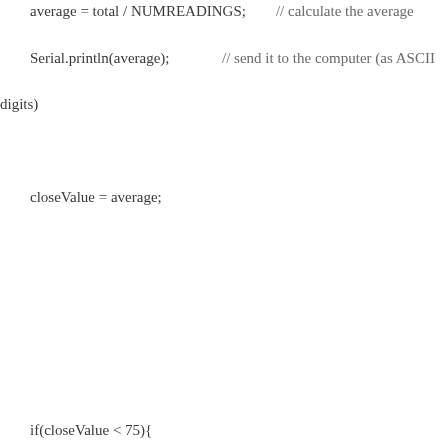average = total / NUMREADINGS;    // calculate the average
  Serial.println(average);            // send it to the computer (as ASCII digits)
  closeValue = average;

  if(closeValue < 75){
    analogWrite(rLed, 255);
    analogWrite(gLed, 0);
    analogWrite(bLed, 0);
  } else if(closeValue >= 75 && closeValue <= 500){
    analogWrite(rLed, 0);
    analogWrite(gLed, 255);
    analogWrite(bLed, 0);
  } else if(closeValue > 500) {
    analogWrite(rLed, 0);
    analogWrite(gLed, 0);